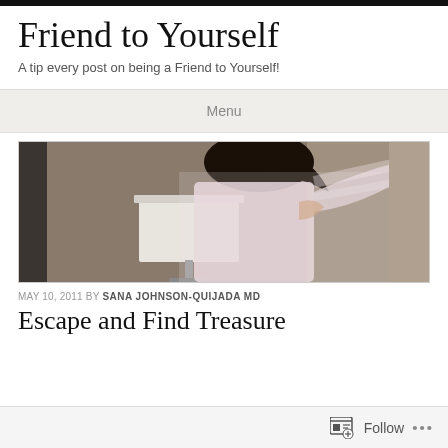Friend to Yourself
A tip every post on being a Friend to Yourself!
Menu
[Figure (photo): A blurred action photo of a person with dark hair wearing a light pink/white top, in motion near a lamp with a white shade. The image appears motion-blurred.]
MAY 10, 2011 BY SANA JOHNSON-QUIJADA MD
Escape and Find Treasure